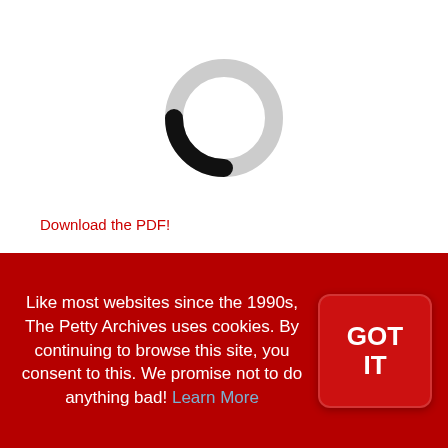[Figure (other): Circular loading spinner graphic: a large light gray circle ring with a small black arc segment at the bottom-left, resembling a progress/loading indicator.]
Download the PDF!
Random Notes: Foreverly Yours
By Mark Coleman
Rolling Stone #487 -- November 20, 1986
Like most websites since the 1990s, The Petty Archives uses cookies. By continuing to browse this site, you consent to this. We promise not to do anything bad! Learn More